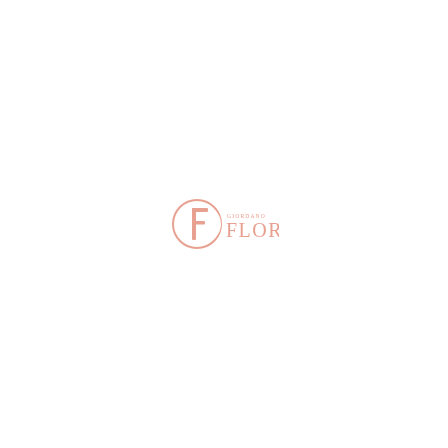[Figure (logo): Giordano Flora brand logo: a crescent circle with stylized F lettermark on the left, and the text 'GIORDANO' in small caps above 'FLORA' in large serif letters on the right, all in salmon/peach color]